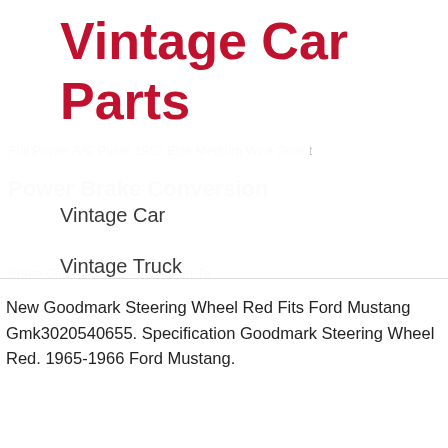Vintage Car Parts
Vintage Car
Vintage Truck
Antique Car
Chevrolet
Ford
Rolls Royce
New Goodmark Steering Wheel Red Fits Ford Mustang Gmk3020540655. Specification Goodmark Steering Wheel Red. 1965-1966 Ford Mustang.